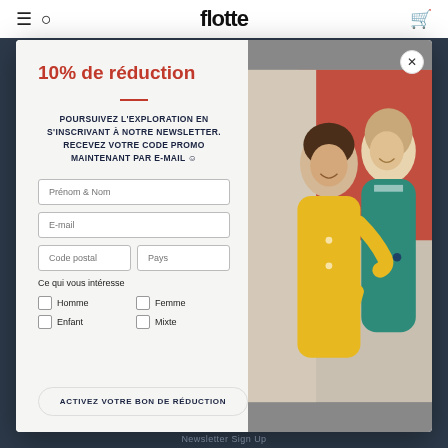flotte
10% de réduction
POURSUIVEZ L'EXPLORATION EN S'INSCRIVANT À NOTRE NEWSLETTER. RECEVEZ VOTRE CODE PROMO MAINTENANT PAR E-MAIL ☺
Prénom & Nom
E-mail
Code postal
Pays
Ce qui vous intéresse
Homme
Femme
Enfant
Mixte
ACTIVEZ VOTRE BON DE RÉDUCTION
[Figure (photo): Two people smiling, a man in a yellow rain jacket and a woman in a teal rain jacket, photographed outdoors against a colorful background]
Newsletter Sign Up